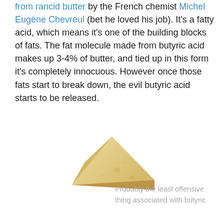from rancid butter by the French chemist Michel Eugène Chevreul (bet he loved his job). It's a fatty acid, which means it's one of the building blocks of fats. The fat molecule made from butyric acid makes up 3-4% of butter, and tied up in this form it's completely innocuous. However once those fats start to break down, the evil butyric acid starts to be released.
[Figure (photo): A wedge of pale yellow cheese (likely Parmesan) on a white background]
Probably the least offensive thing associated with butyric